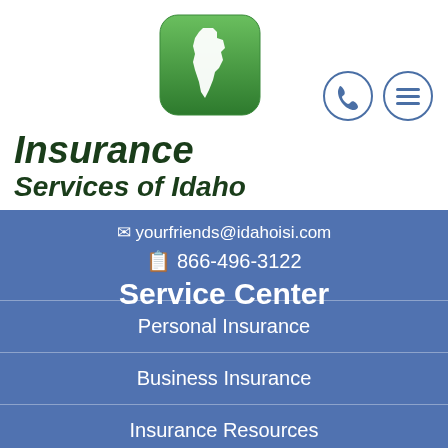[Figure (logo): Insurance Services of Idaho logo with green Idaho state icon and dark green italic text]
yourfriends@idahoisi.com
866-496-3122
Service Center
Personal Insurance
Business Insurance
Insurance Resources
Client Service
Contact Us